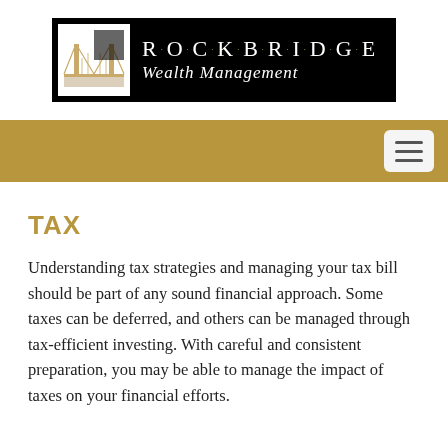[Figure (logo): RockBridge Wealth Management logo: black rectangular background with a bridge illustration on the left side and 'R·O·C·K·B·R·I·D·G·E' in spaced serif letters and 'Wealth Management' in italic below, on the right side.]
[Figure (other): Gold/tan horizontal navigation bar with a hamburger menu button (three horizontal lines) on the right side.]
TAX
Understanding tax strategies and managing your tax bill should be part of any sound financial approach. Some taxes can be deferred, and others can be managed through tax-efficient investing. With careful and consistent preparation, you may be able to manage the impact of taxes on your financial efforts.